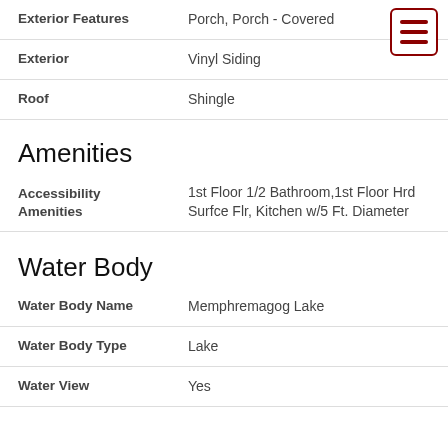| Field | Value |
| --- | --- |
| Exterior Features | Porch, Porch - Covered |
| Exterior | Vinyl Siding |
| Roof | Shingle |
Amenities
| Field | Value |
| --- | --- |
| Accessibility Amenities | 1st Floor 1/2 Bathroom,1st Floor Hrd Surfce Flr, Kitchen w/5 Ft. Diameter |
Water Body
| Field | Value |
| --- | --- |
| Water Body Name | Memphremagog Lake |
| Water Body Type | Lake |
| Water View | Yes |
[Figure (other): Hamburger menu icon with three dark red horizontal lines inside a red-bordered rounded rectangle, positioned in top-right corner]